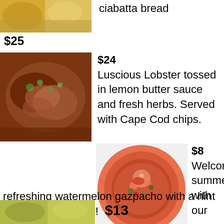[Figure (photo): Partial view of a food dish, appears golden/yellow colored, cropped at top]
ciabatta bread
$25
[Figure (photo): Lobster roll or lobster dish with green herbs and sauce on a bread bun]
$24
Luscious Lobster tossed in lemon butter sauce and fresh herbs. Served with Cape Cod chips.
[Figure (photo): Watermelon gazpacho soup in a bowl, red/pink colored with garnishes]
$8
Welcome summer with our
refreshing watermelon gazpacho with a hint of mezcal and mint!
[Figure (photo): Partial view of another food dish at the bottom, yellowish-green colored]
$13